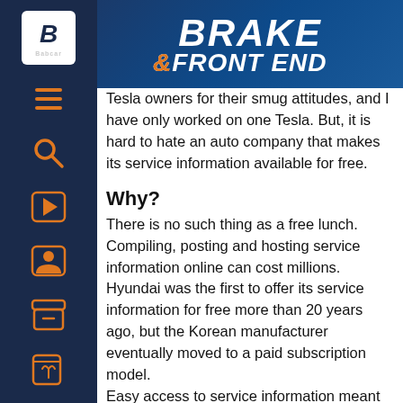BRAKE & FRONT END
Tesla owners for their smug attitudes, and I have only worked on one Tesla. But, it is hard to hate an auto company that makes its service information available for free.
Why?
There is no such thing as a free lunch. Compiling, posting and hosting service information online can cost millions. Hyundai was the first to offer its service information for free more than 20 years ago, but the Korean manufacturer eventually moved to a paid subscription model.
Easy access to service information meant owners not near a Hyundai dealer could have their vehicle serviced at an independent shop. I think Hyundai